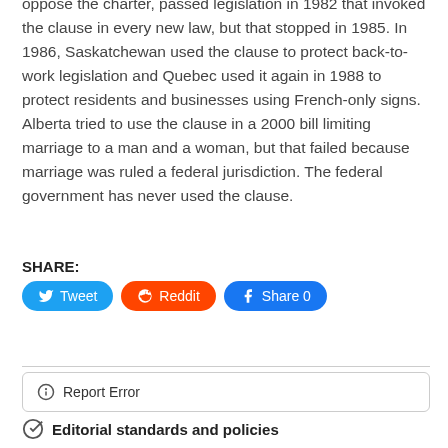oppose the charter, passed legislation in 1982 that invoked the clause in every new law, but that stopped in 1985. In 1986, Saskatchewan used the clause to protect back-to-work legislation and Quebec used it again in 1988 to protect residents and businesses using French-only signs. Alberta tried to use the clause in a 2000 bill limiting marriage to a man and a woman, but that failed because marriage was ruled a federal jurisdiction. The federal government has never used the clause.
SHARE:
[Figure (other): Social sharing buttons: Tweet (Twitter), Reddit, Share 0 (Facebook)]
Report Error
Editorial standards and policies
Why you can trust CTV News
WATCH MORE FROM CTV NEWS